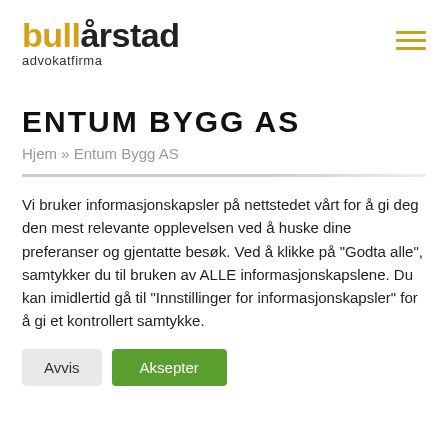bullårstad advokatfirma
ENTUM BYGG AS
Hjem » Entum Bygg AS
Vi bruker informasjonskapsler på nettstedet vårt for å gi deg den mest relevante opplevelsen ved å huske dine preferanser og gjentatte besøk. Ved å klikke på "Godta alle", samtykker du til bruken av ALLE informasjonskapslene. Du kan imidlertid gå til "Innstillinger for informasjonskapsler" for å gi et kontrollert samtykke.
Avvis
Aksepter